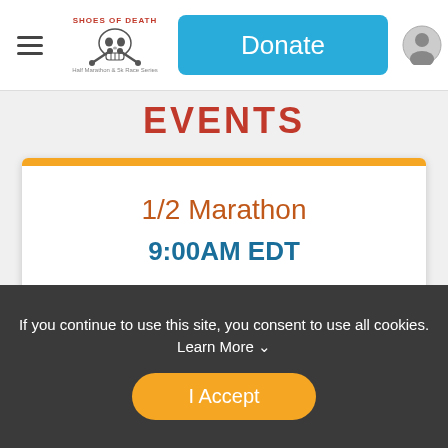[Figure (screenshot): Website header with hamburger menu, Shoes of Death skull logo, blue Donate button, and user profile icon]
EVENTS
1/2 Marathon
9:00AM EDT
Sign Up
If you continue to use this site, you consent to use all cookies. Learn More
I Accept